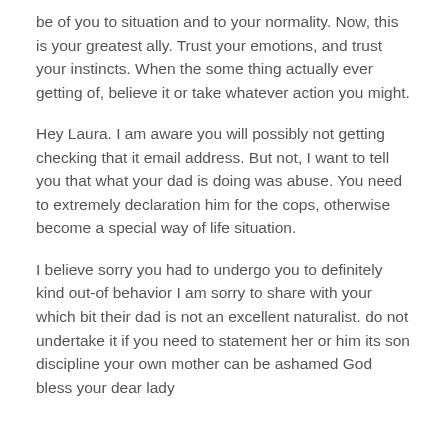be of you to situation and to your normality. Now, this is your greatest ally. Trust your emotions, and trust your instincts. When the some thing actually ever getting of, believe it or take whatever action you might.
Hey Laura. I am aware you will possibly not getting checking that it email address. But not, I want to tell you that what your dad is doing was abuse. You need to extremely declaration him for the cops, otherwise become a special way of life situation.
I believe sorry you had to undergo you to definitely kind out-of behavior I am sorry to share with your which bit their dad is not an excellent naturalist. do not undertake it if you need to statement her or him its son discipline your own mother can be ashamed God bless your dear lady